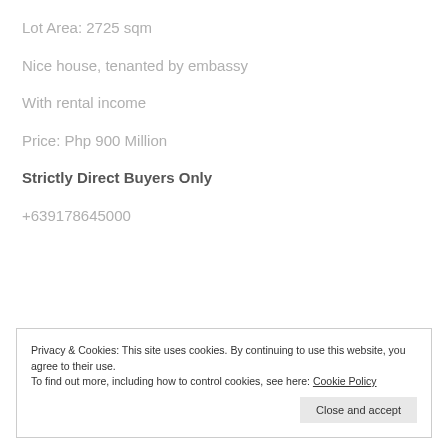Lot Area: 2725 sqm
Nice house, tenanted by embassy
With rental income
Price: Php 900 Million
Strictly Direct Buyers Only
+639178645000
Privacy & Cookies: This site uses cookies. By continuing to use this website, you agree to their use. To find out more, including how to control cookies, see here: Cookie Policy
Close and accept